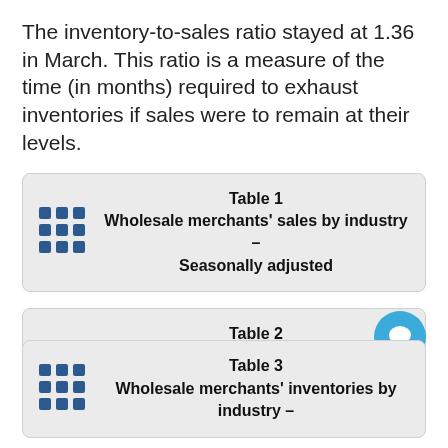The inventory-to-sales ratio stayed at 1.36 in March. This ratio is a measure of the time (in months) required to exhaust inventories if sales were to remain at their levels.
Table 1 Wholesale merchants' sales by industry – Seasonally adjusted
Table 2 Wholesale merchants' sales by province and territory – Seasonally adjusted
Table 3 Wholesale merchants' inventories by industry –